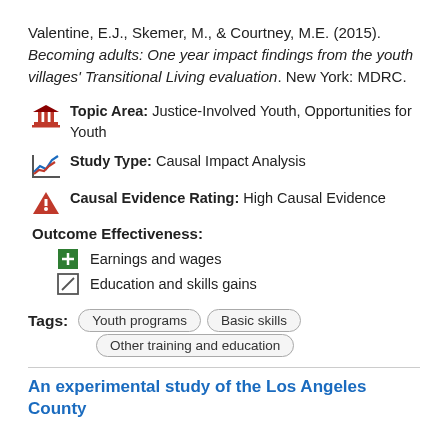Valentine, E.J., Skemer, M., & Courtney, M.E. (2015). Becoming adults: One year impact findings from the youth villages' Transitional Living evaluation. New York: MDRC.
Topic Area: Justice-Involved Youth, Opportunities for Youth
Study Type: Causal Impact Analysis
Causal Evidence Rating: High Causal Evidence
Outcome Effectiveness:
Earnings and wages
Education and skills gains
Tags: Youth programs, Basic skills, Other training and education
An experimental study of the Los Angeles County